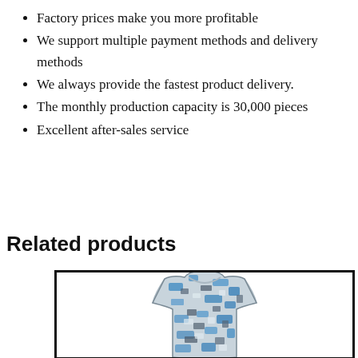Factory prices make you more profitable
We support multiple payment methods and delivery methods
We always provide the fastest product delivery.
The monthly production capacity is 30,000 pieces
Excellent after-sales service
Related products
[Figure (photo): A camouflage patterned sleeveless vest/jersey in blue, grey and white digital camo print, shown from the front inside a black-bordered product box.]